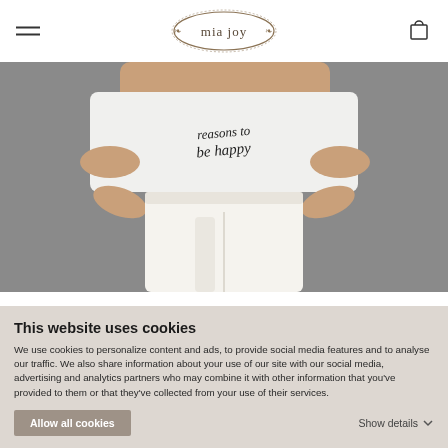mia joy — navigation header with hamburger menu and cart icon
[Figure (photo): A woman wearing white high-waisted leggings and a white t-shirt that reads 'reasons to be happy', posed against a grey background. The photo shows the torso and legs of the model.]
This website uses cookies
We use cookies to personalize content and ads, to provide social media features and to analyse our traffic. We also share information about your use of our site with our social media, advertising and analytics partners who may combine it with other information that you've provided to them or that they've collected from your use of their services.
Allow all cookies
Show details